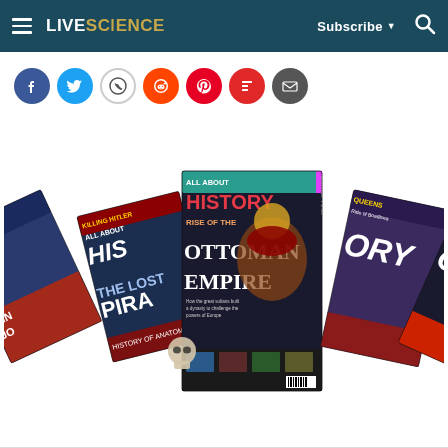LIVESCIENCE | Subscribe | Search
[Figure (screenshot): Social sharing icons: Facebook, Twitter, WhatsApp, Reddit, Pinterest, Flipboard, Email]
[Figure (photo): Fan arrangement of All About History magazines, with the center issue featuring Rise of the Ottoman Empire cover, surrounded by several other issues showing different historical themes including King John, Pirates, and others.]